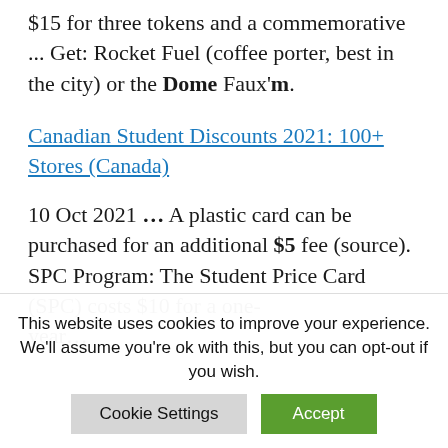$15 for three tokens and a commemorative ... Get: Rocket Fuel (coffee porter, best in the city) or the Dome Faux'm.
Canadian Student Discounts 2021: 100+ Stores (Canada)
10 Oct 2021 ... A plastic card can be purchased for an additional $5 fee (source). SPC Program: The Student Price Card (SPC) costs $10 for a one-year...
This website uses cookies to improve your experience. We'll assume you're ok with this, but you can opt-out if you wish.